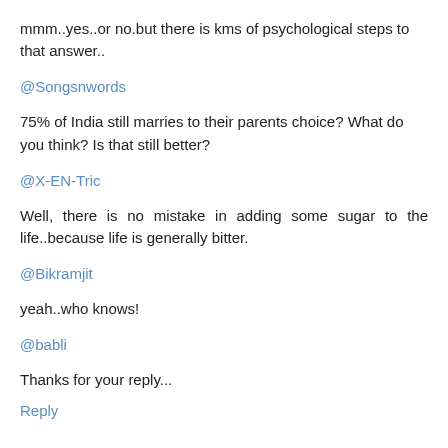mmm..yes..or no.but there is kms of psychological steps to that answer..
@Songsnwords
75% of India still marries to their parents choice? What do you think? Is that still better?
@X-EN-Tric
Well, there is no mistake in adding some sugar to the life..because life is generally bitter.
@Bikramjit
yeah..who knows!
@babli
Thanks for your reply...
Reply